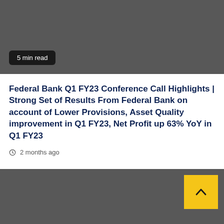[Figure (photo): Dark grey banner image with a '5 min read' badge in the lower left corner]
Federal Bank Q1 FY23 Conference Call Highlights | Strong Set of Results From Federal Bank on account of Lower Provisions, Asset Quality improvement in Q1 FY23, Net Profit up 63% YoY in Q1 FY23
2 months ago
[Figure (photo): Dark grey banner image with a yellow scroll-to-top button (chevron up) in the upper right corner]